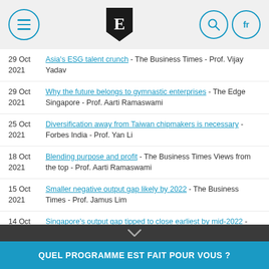ESSEC navigation header with hamburger menu, ESSEC logo, search and language (fr) buttons
29 Oct 2021 | Asia's ESG talent crunch - The Business Times - Prof. Vijay Yadav
29 Oct 2021 | Why the future belongs to gymnastic enterprises - The Edge Singapore - Prof. Aarti Ramaswami
25 Oct 2021 | Diversification away from Taiwan chipmakers is necessary - Forbes India - Prof. Yan Li
18 Oct 2021 | Blending purpose and profit - The Business Times Views from the top - Prof. Aarti Ramaswami
15 Oct 2021 | Smaller negative output gap likely by 2022 - The Business Times - Prof. Jamus Lim
14 Oct 2021 | Singapore's output gap tipped to close earliest by mid-2022 - The Business Times - Prof. Jamus Lim
14 Oct 2021 | Q3 GDP growth skids to 6.5% in absence of circuit breaker effect in Q2 - The Business Times - Prof. Jamus Lim
QUEL PROGRAMME EST FAIT POUR VOUS ?